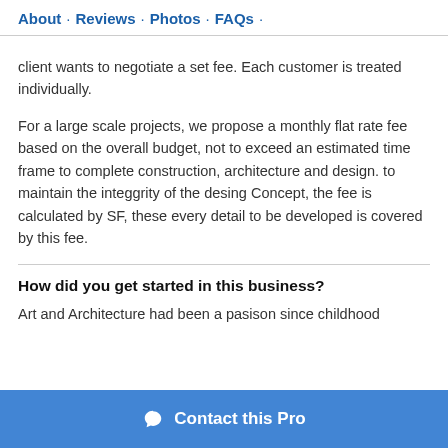About · Reviews · Photos · FAQs ·
client wants to negotiate a set fee. Each customer is treated individually.
For a large scale projects, we propose a monthly flat rate fee based on the overall budget, not to exceed an estimated time frame to complete construction, architecture and design. to maintain the integgrity of the desing Concept, the fee is calculated by SF, these every detail to be developed is covered by this fee.
How did you get started in this business?
Art and Architecture had been a pasison since childhood